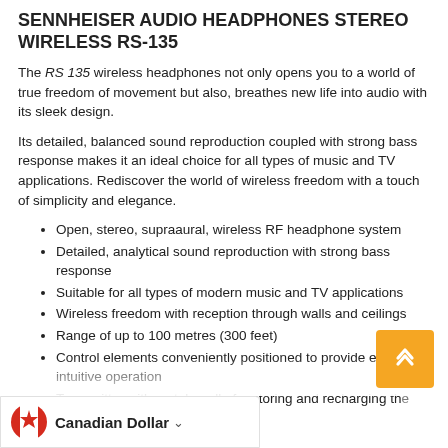SENNHEISER AUDIO HEADPHONES STEREO WIRELESS RS-135
The RS 135 wireless headphones not only opens you to a world of true freedom of movement but also, breathes new life into audio with its sleek design.
Its detailed, balanced sound reproduction coupled with strong bass response makes it an ideal choice for all types of music and TV applications. Rediscover the world of wireless freedom with a touch of simplicity and elegance.
Open, stereo, supraaural, wireless RF headphone system
Detailed, analytical sound reproduction with strong bass response
Suitable for all types of modern music and TV applications
Wireless freedom with reception through walls and ceilings
Range of up to 100 metres (300 feet)
Control elements conveniently positioned to provide easy, intuitive operation
Transmitter with metal cradle for storing and recharging the headphones
...transmitter possible
...nes, extremely comfortable to wear
Canadian Dollar